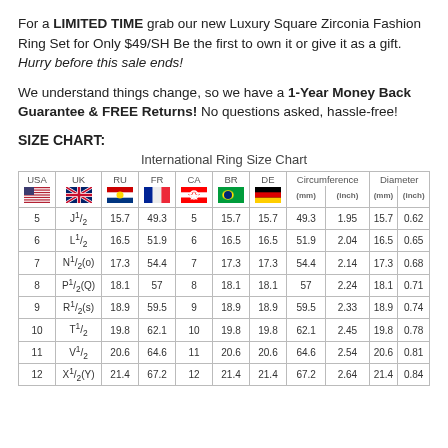For a LIMITED TIME grab our new Luxury Square Zirconia Fashion Ring Set for Only $49/SH Be the first to own it or give it as a gift. Hurry before this sale ends!
We understand things change, so we have a 1-Year Money Back Guarantee & FREE Returns! No questions asked, hassle-free!
SIZE CHART:
International Ring Size Chart
| USA | UK | RU | FR | CA | BR | DE | Circumference (mm) | Circumference (inch) | Diameter (mm) | Diameter (inch) |
| --- | --- | --- | --- | --- | --- | --- | --- | --- | --- | --- |
| 5 | J¹⁄₂ | 15.7 | 49.3 | 5 | 15.7 | 15.7 | 49.3 | 1.95 | 15.7 | 0.62 |
| 6 | L¹⁄₂ | 16.5 | 51.9 | 6 | 16.5 | 16.5 | 51.9 | 2.04 | 16.5 | 0.65 |
| 7 | N¹⁄₂(o) | 17.3 | 54.4 | 7 | 17.3 | 17.3 | 54.4 | 2.14 | 17.3 | 0.68 |
| 8 | P¹⁄₂(Q) | 18.1 | 57 | 8 | 18.1 | 18.1 | 57 | 2.24 | 18.1 | 0.71 |
| 9 | R¹⁄₂(s) | 18.9 | 59.5 | 9 | 18.9 | 18.9 | 59.5 | 2.33 | 18.9 | 0.74 |
| 10 | T¹⁄₂ | 19.8 | 62.1 | 10 | 19.8 | 19.8 | 62.1 | 2.45 | 19.8 | 0.78 |
| 11 | V¹⁄₂ | 20.6 | 64.6 | 11 | 20.6 | 20.6 | 64.6 | 2.54 | 20.6 | 0.81 |
| 12 | X¹⁄₂(Y) | 21.4 | 67.2 | 12 | 21.4 | 21.4 | 67.2 | 2.64 | 21.4 | 0.84 |